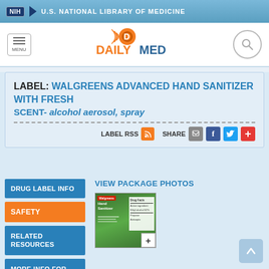NIH | U.S. NATIONAL LIBRARY OF MEDICINE
[Figure (logo): DailyMed logo with orange pill icon and DAILYMED text in orange and blue]
LABEL: WALGREENS ADVANCED HAND SANITIZER WITH FRESH SCENT- alcohol aerosol, spray
LABEL RSS  SHARE
VIEW PACKAGE PHOTOS
[Figure (photo): Package photo of Walgreens Advanced Hand Sanitizer with Fresh Scent aerosol spray, green packaging]
DRUG LABEL INFO
SAFETY
RELATED RESOURCES
MORE INFO FOR THIS DRUG